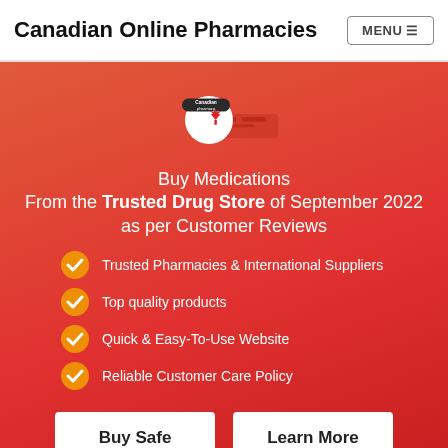Canadian Online Pharmacies
[Figure (illustration): Canadian pharmacy logo: white circle with red maple leaf and a dark pill badge saying 'Canadian pharmacy', set against a reddish-orange hero background with faint computer/monitor illustration]
Buy Medications From the Trusted Drug Store of September 2022 as per Customer Reviews
Trusted Pharmacies & International Suppliers
Top quality products
Quick & Easy-To-Use Website
Reliable Customer Care Policy
Buy Safe
Learn More